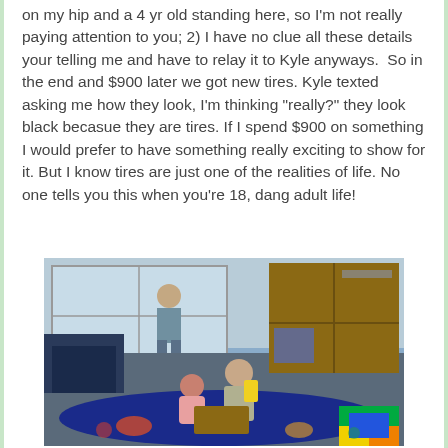on my hip and a 4 yr old standing here, so I'm not really paying attention to you; 2) I have no clue all these details your telling me and have to relay it to Kyle anyways.  So in the end and $900 later we got new tires. Kyle texted asking me how they look, I'm thinking "really?" they look black becasue they are tires. If I spend $900 on something I would prefer to have something really exciting to show for it. But I know tires are just one of the realities of life. No one tells you this when you're 18, dang adult life!
[Figure (photo): Two young children playing on a blue rug in what appears to be a waiting room with a bookshelf, large window, and blue sofa. A person is visible sitting in the background near the window.]